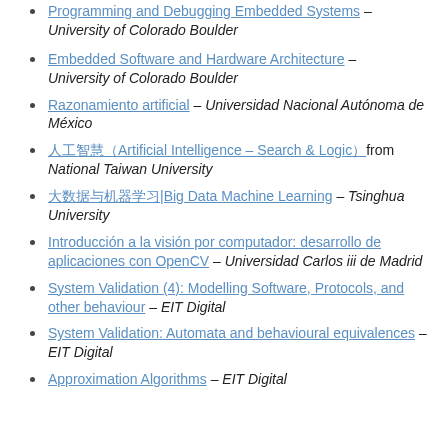Embedded Software and Hardware Architecture – University of Colorado Boulder
Razonamiento artificial – Universidad Nacional Autónoma de México
人工智慧（Artificial Intelligence – Search & Logic)from National Taiwan University
大数据与机器学习|Big Data Machine Learning – Tsinghua University
Introducción a la visión por computador: desarrollo de aplicaciones con OpenCV – Universidad Carlos iii de Madrid
System Validation (4): Modelling Software, Protocols, and other behaviour – EIT Digital
System Validation: Automata and behavioural equivalences – EIT Digital
Approximation Algorithms – EIT Digital